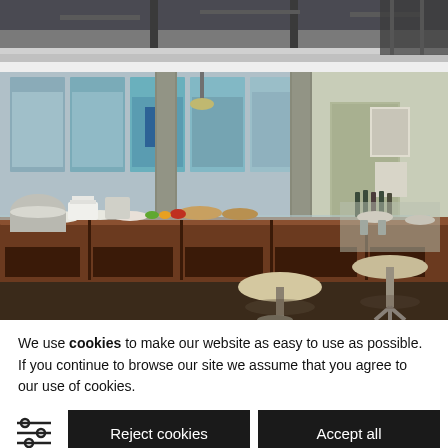[Figure (photo): Partial top view of a hotel or conference buffet area, showing ceiling and upper portion of buffet counters]
[Figure (photo): Interior photo of a modern hotel restaurant or conference buffet area with wooden buffet counters, round standing tables, food items, and large floor-to-ceiling windows showing city view outside]
We use cookies to make our website as easy to use as possible. If you continue to browse our site we assume that you agree to our use of cookies.
Reject cookies
Accept all